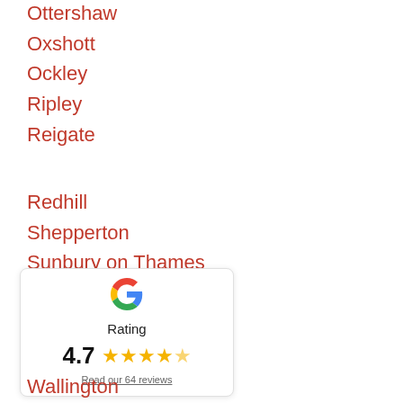Ottershaw
Oxshott
Ockley
Ripley
Reigate
Redhill
Shepperton
Sunbury on Thames
Staines
[Figure (infographic): Google rating card showing 4.7 stars out of 5 with Google logo, text 'Rating', bold '4.7', five gold stars (last one partially filled), and a link 'Read our 64 reviews']
Wallington